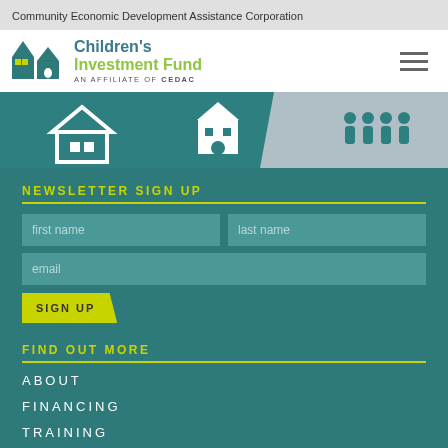Community Economic Development Assistance Corporation
[Figure (logo): Children's Investment Fund logo - house icon with teal and yellow-green colors, AN AFFILIATE OF CEDAC tagline]
[Figure (infographic): Navigation icon bar with three sections: house/home icon on teal, building icon on teal, group of people icon on gray]
NEWSLETTER SIGN UP
first name
last name
email
SIGN UP
FIND OUT MORE
ABOUT
FINANCING
TRAINING